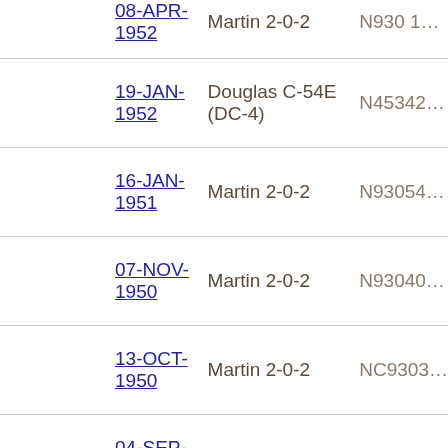| Date | Aircraft | Registration |
| --- | --- | --- |
| 08-APR-1952 | Martin 2-0-2 | N930 1… |
| 19-JAN-1952 | Douglas C-54E (DC-4) | N45342… |
| 16-JAN-1951 | Martin 2-0-2 | N93054… |
| 07-NOV-1950 | Martin 2-0-2 | N93040… |
| 13-OCT-1950 | Martin 2-0-2 | NC9303… |
| 04-SEP-1950 | Martin 2-0-2 | N93051… |